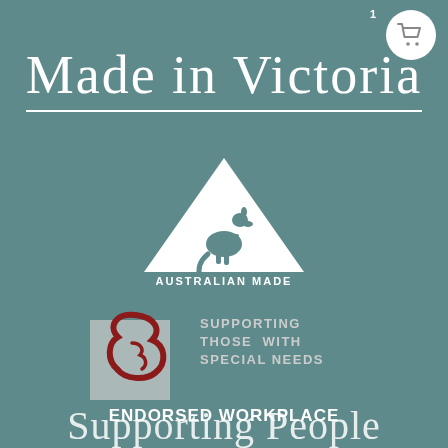[Figure (logo): Shopping cart icon in white circle, top right corner with number 1]
Made in Victoria
[Figure (logo): Australian Made logo - white triangle with kangaroo silhouette inside, text AUSTRALIAN MADE below]
[Figure (logo): Logo with stylized number 3 in red/dark red swirl over a light grey square background]
SUPPORTING THOSE WITH SPECIAL NEEDS
ENDORSED WORKPLACE
Supporting People (partially visible at bottom)